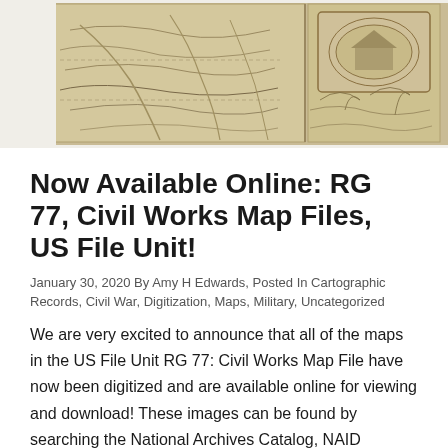[Figure (map): A historical sepia-toned Civil War era map showing terrain, roads, and geographic features across what appears to be southern US states. The map is shown in two panels side by side with aged, yellowed paper and a decorative cartouche in the upper right corner.]
Now Available Online: RG 77, Civil Works Map Files, US File Unit!
January 30, 2020 By Amy H Edwards, Posted In Cartographic Records, Civil War, Digitization, Maps, Military, Uncategorized
We are very excited to announce that all of the maps in the US File Unit RG 77: Civil Works Map File have now been digitized and are available online for viewing and download!  These images can be found by searching the National Archives Catalog, NAID #7491452. The records in this series comprised the main … Continue